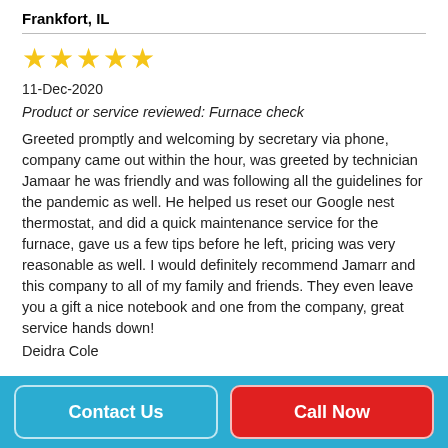Frankfort, IL
★★★★★
11-Dec-2020
Product or service reviewed: Furnace check
Greeted promptly and welcoming by secretary via phone, company came out within the hour, was greeted by technician Jamaar he was friendly and was following all the guidelines for the pandemic as well. He helped us reset our Google nest thermostat, and did a quick maintenance service for the furnace, gave us a few tips before he left, pricing was very reasonable as well. I would definitely recommend Jamarr and this company to all of my family and friends. They even leave you a gift a nice notebook and one from the company, great service hands down!
Deidra Cole
Contact Us
Call Now